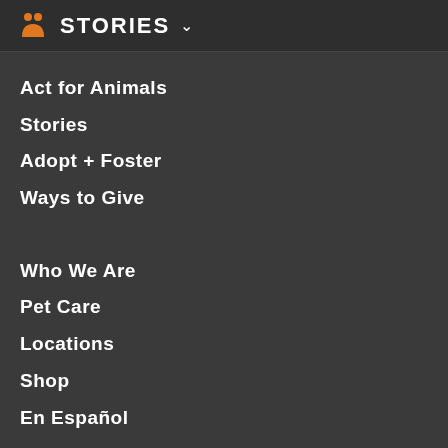STORIES
Act for Animals
Stories
Adopt + Foster
Ways to Give
Who We Are
Pet Care
Locations
Shop
En Español
Careers
Internships
Contact Us
For the Media
FAQs